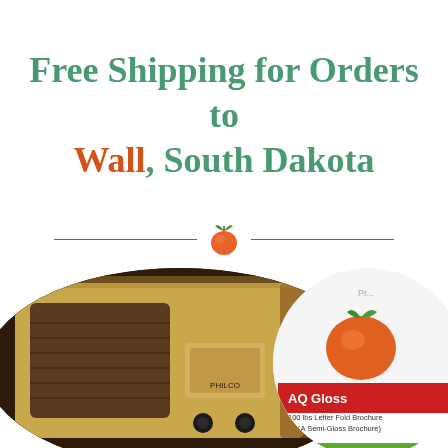Free Shipping for Orders to Wall, South Dakota
[Figure (illustration): Decorative horizontal divider with a peach/orange fruit icon in the center, flanked by thin lines on each side]
[Figure (photo): Circular cropped photo of a vintage Philco radio (tan/yellow fabric-covered case with brown speaker grille and small tuning dial) on the left, overlapping with a circular cropped image of a brochure showing an apple illustration and text 'AQ Gloss 100 lbs Letter Fold Brochure (AKA Semi-Gloss Brochure)' on the right]